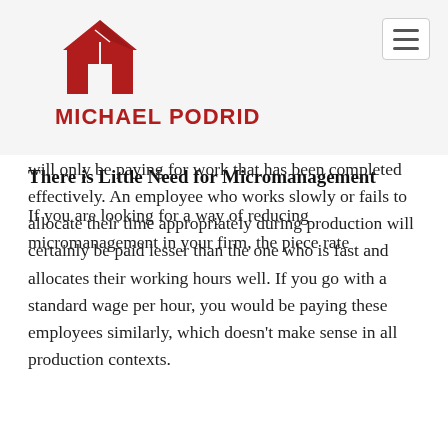MICHAEL PODRID
will only be paying for work that has been completed effectively. An employee who works slowly or fails to allocate their time appropriately during production will certainly be paid lesser than the one who is fast and allocates their working hours well. If you go with a standard wage per hour, you would be paying these employees similarly, which doesn't make sense in all production contexts.
There is Little Need for Micromanagement
If you are looking for a way of reducing micromanagement in your firm, the piece rate